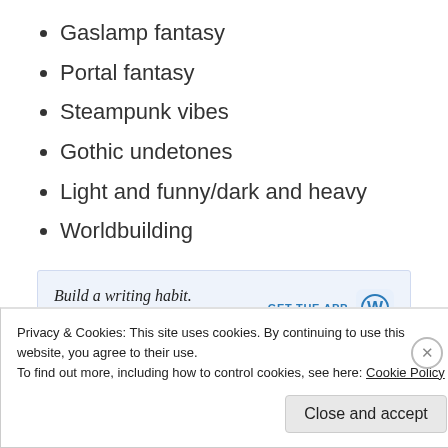Gaslamp fantasy
Portal fantasy
Steampunk vibes
Gothic undetones
Light and funny/dark and heavy
Worldbuilding
[Figure (other): WordPress app advertisement banner: 'Build a writing habit. Post on the go.' with GET THE APP button and WordPress logo]
Privacy & Cookies: This site uses cookies. By continuing to use this website, you agree to their use. To find out more, including how to control cookies, see here: Cookie Policy
Close and accept